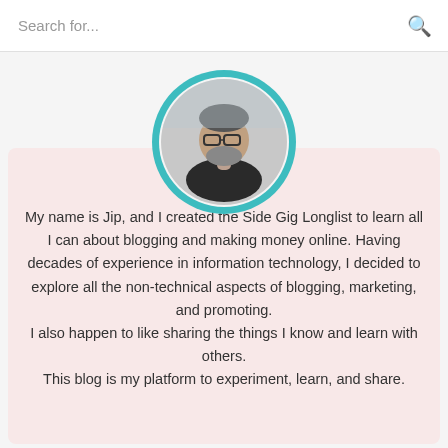Search for...
[Figure (photo): Circular profile photo of a middle-aged man with glasses and a beard, framed with a teal/turquoise circular border]
Hi there!
My name is Jip, and I created the Side Gig Longlist to learn all I can about blogging and making money online. Having decades of experience in information technology, I decided to explore all the non-technical aspects of blogging, marketing, and promoting. I also happen to like sharing the things I know and learn with others. This blog is my platform to experiment, learn, and share.